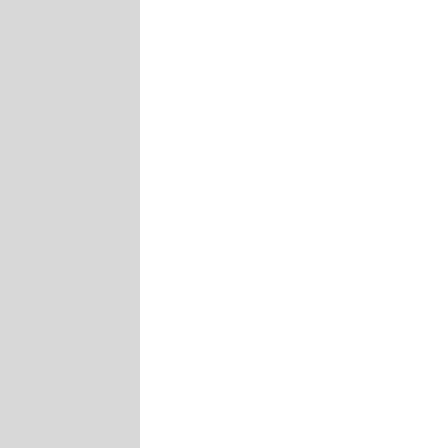with the past that they refuse to rebel against the deluge and mindset of 7th Century barbarians invading and eventually returning to a stone age mentality Good Bye Germany